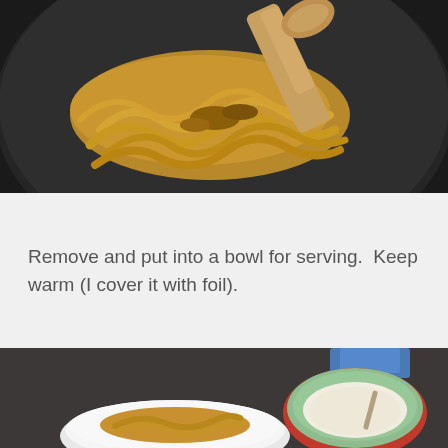[Figure (photo): Close-up of caramelized sliced onions in a dark non-stick skillet with a wooden spoon stirring them. The onions are golden-brown and translucent.]
Remove and put into a bowl for serving.  Keep warm (I cover it with foil).
[Figure (photo): A white bowl containing caramelized onions on a dark countertop, with a green and red ceramic bowl containing a creamy white sauce with a spoon in the background.]